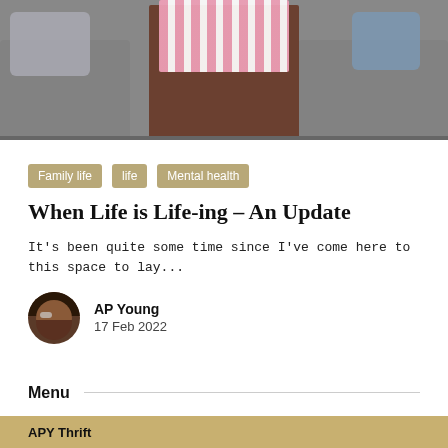[Figure (photo): Photo of a person in pink and white striped shorts sitting on a gray sofa, with decorative pillows visible on the sides]
Family life
life
Mental health
When Life is Life-ing – An Update
It's been quite some time since I've come here to this space to lay...
AP Young
17 Feb 2022
Menu
APY Thrift